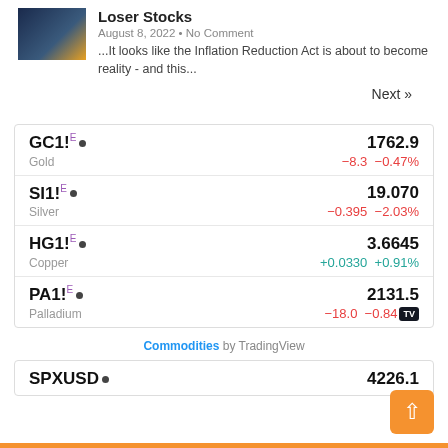Loser Stocks
August 8, 2022 • No Comment
...It looks like the Inflation Reduction Act is about to become reality - and this...
Next »
| Symbol | Name | Price | Change | Change% |
| --- | --- | --- | --- | --- |
| GC1! | Gold | 1762.9 | −8.3 | −0.47% |
| SI1! | Silver | 19.070 | −0.395 | −2.03% |
| HG1! | Copper | 3.6645 | +0.0330 | +0.91% |
| PA1! | Palladium | 2131.5 | −18.0 | −0.84% |
Commodities by TradingView
| Symbol | Price |
| --- | --- |
| SPXUSD | 4226.1 |